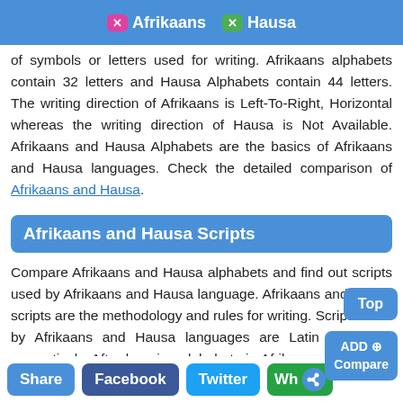Afrikaans  Hausa
of symbols or letters used for writing. Afrikaans alphabets contain 32 letters and Hausa Alphabets contain 44 letters. The writing direction of Afrikaans is Left-To-Right, Horizontal whereas the writing direction of Hausa is Not Available. Afrikaans and Hausa Alphabets are the basics of Afrikaans and Hausa languages. Check the detailed comparison of Afrikaans and Hausa.
Afrikaans and Hausa Scripts
Compare Afrikaans and Hausa alphabets and find out scripts used by Afrikaans and Hausa language. Afrikaans and Hausa scripts are the methodology and rules for writing. Scripts used by Afrikaans and Hausa languages are Latin and Latin respectively. After learning alphabets in Afrikaans and Hausa you can also learn useful Afrikaans greetings vs Hausa greetings.
Share  Facebook  Twitter  Wh